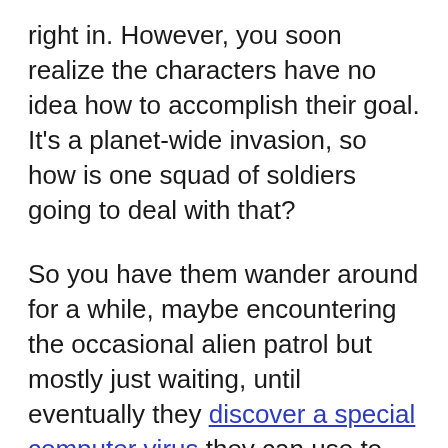right in. However, you soon realize the characters have no idea how to accomplish their goal. It's a planet-wide invasion, so how is one squad of soldiers going to deal with that?
So you have them wander around for a while, maybe encountering the occasional alien patrol but mostly just waiting, until eventually they discover a special computer virus they can use to take down all the aliens at once. Finally, the plot can move forward!
This kind of meandering plot is boring. Really boring. It sends a clear signal to the audience that they can skip this part because nothing important is happening. Instead of enjoying the conflict, the